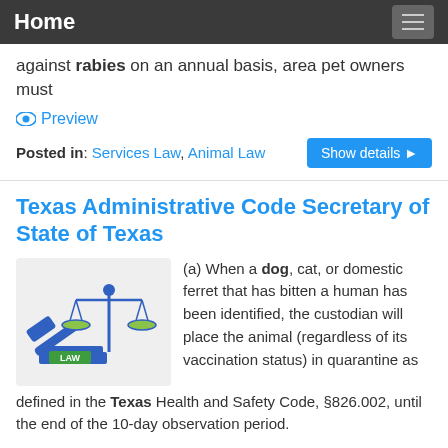Home
against rabies on an annual basis, area pet owners must
Preview
Posted in: Services Law, Animal Law
Texas Administrative Code Secretary of State of Texas
[Figure (illustration): Illustration of legal scales of justice with a gavel and a book labeled LAW in blue and green colors]
(a) When a dog, cat, or domestic ferret that has bitten a human has been identified, the custodian will place the animal (regardless of its vaccination status) in quarantine as defined in the Texas Health and Safety Code, §826.002, until the end of the 10-day observation period.